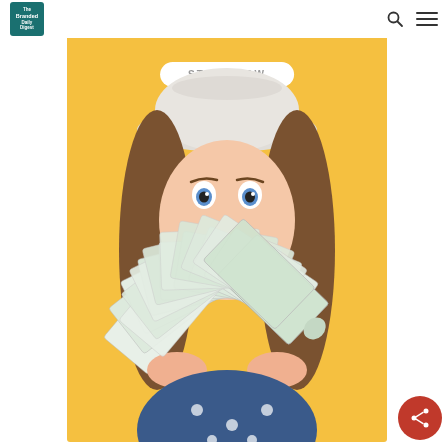The Branded Daily Digest
[Figure (photo): Woman with white hat holding a fan of US dollar bills in front of her face, on a yellow background, with a START NOW button overlay]
START NOW